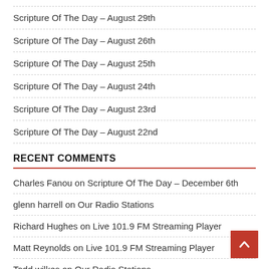Scripture Of The Day – August 29th
Scripture Of The Day – August 26th
Scripture Of The Day – August 25th
Scripture Of The Day – August 24th
Scripture Of The Day – August 23rd
Scripture Of The Day – August 22nd
RECENT COMMENTS
Charles Fanou on Scripture Of The Day – December 6th
glenn harrell on Our Radio Stations
Richard Hughes on Live 101.9 FM Streaming Player
Matt Reynolds on Live 101.9 FM Streaming Player
Todd wilkes on Our Radio Stations